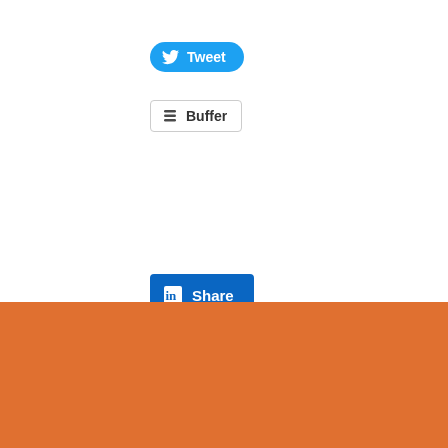[Figure (screenshot): Twitter Tweet button — blue rounded pill button with Twitter bird icon and 'Tweet' label in white]
[Figure (screenshot): Buffer share button — white rectangular button with Buffer stacked-layers icon and 'Buffer' label in dark text]
[Figure (screenshot): LinkedIn Share button — blue rectangular button with 'in' logo icon and 'Share' label in white]
[Figure (screenshot): Orange footer section with a short white horizontal divider line and three social icon boxes: globe/website icon, envelope/email icon, and Facebook 'f' icon]